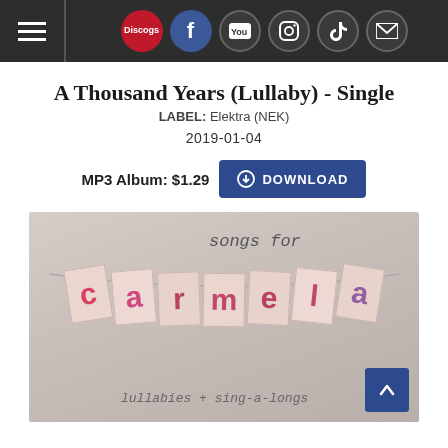Navigation bar with Discogs, Facebook, YouTube, Instagram, TikTok, Mail icons
A Thousand Years (Lullaby) - Single
LABEL: Elektra (NEK)
2019-01-04
MP3 Album: $1.29  DOWNLOAD
[Figure (photo): Album cover for Songs for Carmella: lullabies + sing-a-longs. Shows fabric pennant banner spelling out 'carmella' with colorful letters on small flag shapes, with handwritten text above reading 'songs for' and below reading 'lullabies + sing-a-longs'.]